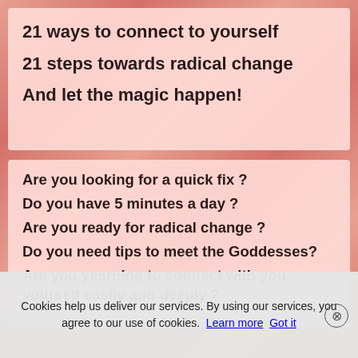21 ways to connect to yourself
21 steps towards radical change
And let the magic happen!
Are you looking for a quick fix ?
Do you have 5 minutes a day ?
Are you ready for radical change ?
Do you need tips to meet the Goddesses?
Are you yearning to connect with you yourself easily and deeply ?
Cookies help us deliver our services. By using our services, you agree to our use of cookies. Learn more  Got it